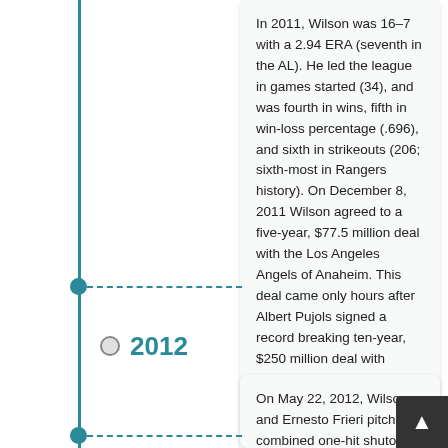In 2011, Wilson was 16–7 with a 2.94 ERA (seventh in the AL). He led the league in games started (34), and was fourth in wins, fifth in win-loss percentage (.696), and sixth in strikeouts (206; sixth-most in Rangers history). On December 8, 2011 Wilson agreed to a five-year, $77.5 million deal with the Los Angeles Angels of Anaheim. This deal came only hours after Albert Pujols signed a record breaking ten-year, $250 million deal with Anaheim. The contract became official on December 10.
2012
On May 22, 2012, Wilson and Ernesto Frieri pitched a combined one-hit shutout against the Oakland Athletics in Oakland, a place Wilson said that he strongly disliked pitching while with the Texas Rangers. Wilson struck out seven and allowed two walks while giving up a single. He was selected to the All Star game in 2012 after going 9-5 with a 2.43 ERA